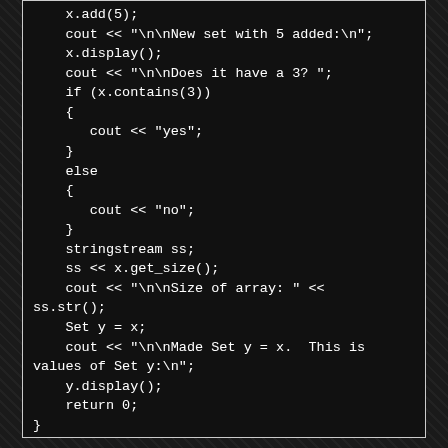[Figure (screenshot): Code snippet in a dark terminal/IDE window showing C++ code with x.add(5), cout statements, if/else block checking x.contains(3), stringstream usage, Set y = x assignment, y.display(), and return 0.]